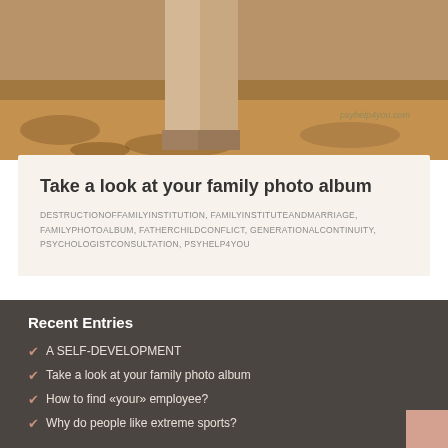[Figure (photo): Partial photo of a person in beige/tan outfit standing outdoors on a ground covered with autumn leaves, with watermark text 'psyhelp4you.com']
Take a look at your family photo album
DESTRUCTIONOFFAMILYINSTITUTION, FAMILYINSTITUTEANDMARRIAGE, FAMILYPHOTOALBUM, FATHERCHILDCONFLICT, GENERATIONALCONTINUITY, PSYCHOLOGISTCONSULTATION, PSYHELP4YOU
Recent Entries
A SELF-DEVELOPMENT
Take a look at your family photo album
How to find «your» employee?
Why do people like extreme sports?